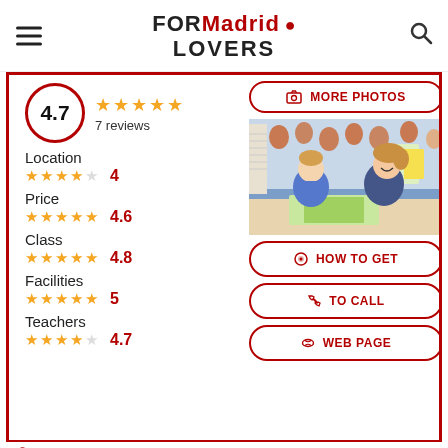FORMadrid LOVERS
4.7 — 7 reviews
Location 4
Price 4.6
Class 4.8
Facilities 5
Teachers 4.7
[Figure (photo): Two young children in blue uniforms doing an activity at a table, decorated classroom background]
Address: C. Rosa Jardón, 1, 28016 Madrid, Spain